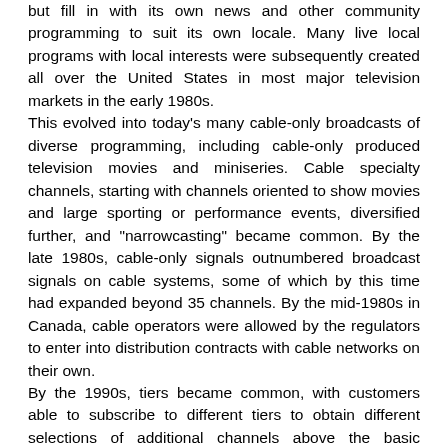but fill in with its own news and other community programming to suit its own locale. Many live local programs with local interests were subsequently created all over the United States in most major television markets in the early 1980s. This evolved into today's many cable-only broadcasts of diverse programming, including cable-only produced television movies and miniseries. Cable specialty channels, starting with channels oriented to show movies and large sporting or performance events, diversified further, and "narrowcasting" became common. By the late 1980s, cable-only signals outnumbered broadcast signals on cable systems, some of which by this time had expanded beyond 35 channels. By the mid-1980s in Canada, cable operators were allowed by the regulators to enter into distribution contracts with cable networks on their own. By the 1990s, tiers became common, with customers able to subscribe to different tiers to obtain different selections of additional channels above the basic selection. By subscribing to additional tiers, customers could get specialty channels, movie channels, and foreign channels. Large cable companies used